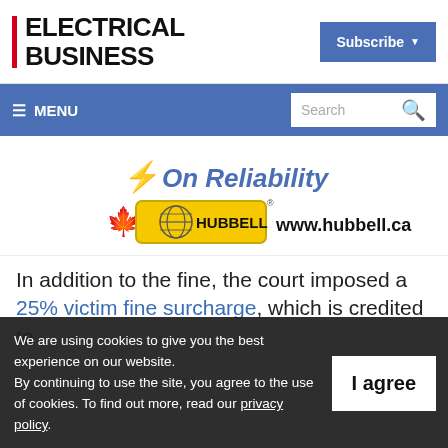ELECTRICAL BUSINESS
[Figure (logo): Electrical Business magazine logo with red vertical bar and bold text]
[Figure (other): Subscribe button with dropdown arrow in blue]
[Figure (other): Navigation bar with hamburger menu (MENU) on left and Search box on right, blue background]
[Figure (other): Hubbell advertisement banner: lightning bolt graphic, text 'On Reliability', Hubbell logo with maple leaf, and www.hubbell.ca]
In addition to the fine, the court imposed a 25% victim fine surcharge, which is credited to
We are using cookies to give you the best experience on our website. By continuing to use the site, you agree to the use of cookies. To find out more, read our privacy policy.